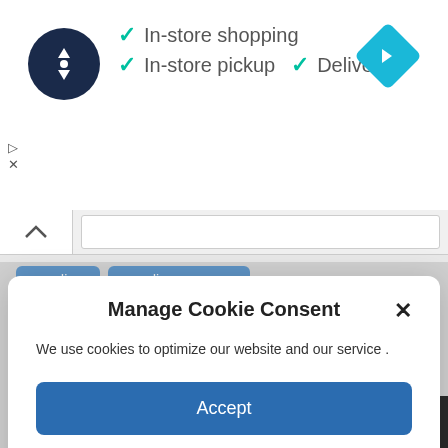[Figure (screenshot): Top ad banner with store logo circle, checkmarks for In-store shopping, In-store pickup, Delivery, and a blue navigation diamond icon. Small ad control icons (play and X) on the left.]
In-store shopping
In-store pickup  ✓  Delivery
Manage Cookie Consent
We use cookies to optimize our website and our service .
Accept
Cookie Policy
Coronavirus  coronavirus canada  covid  COVID-19  covid 19 canada  covid 19 ontario  crime  ctv news  dailymail  economy  Energy